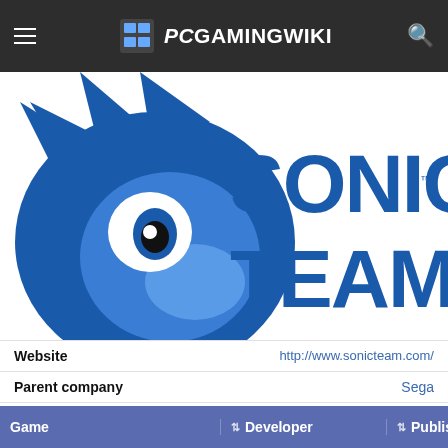PCGamingWiki
[Figure (logo): Sonic Team logo with Sonic the Hedgehog mascot and blue 'SONIC TEAM' text on white background]
| Field | Value |
| --- | --- |
| Website | http://www.sonicteam.com/ |
| Parent company | Sega |
| Founded | 1991 |
Games developed
| Game | Developer | Publisher |
| --- | --- | --- |